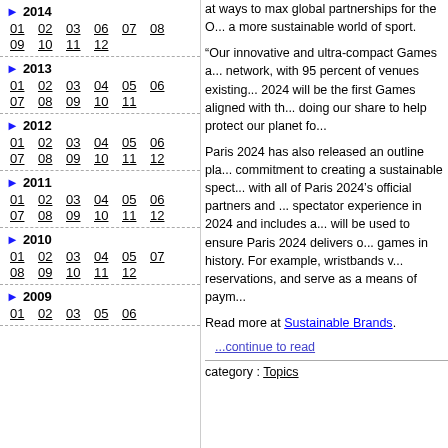2014: 01 02 03 06 07 08 09 10 11 12
2013: 01 02 03 04 05 06 07 08 09 10 11
2012: 01 02 03 04 05 06 07 08 09 10 11 12
2011: 01 02 03 04 05 06 07 08 09 10 11 12
2010: 01 02 03 04 05 07 08 09 10 11 12
2009: 01 02 03 05 06
at ways to max global partnerships for the O... a more sustainable world of sport.
“Our innovative and ultra-compact Games a... network, with 95 percent of venues existing... 2024 will be the first Games aligned with th... doing our share to help protect our planet fo...
Paris 2024 has also released an outline pla... commitment to creating a sustainable spect... with all of Paris 2024’s official partners and ... spectator experience in 2024 and includes a... will be used to ensure Paris 2024 delivers o... games in history. For example, wristbands v... reservations, and serve as a means of paym...
Read more at Sustainable Brands.
...continue to read
category : Topics